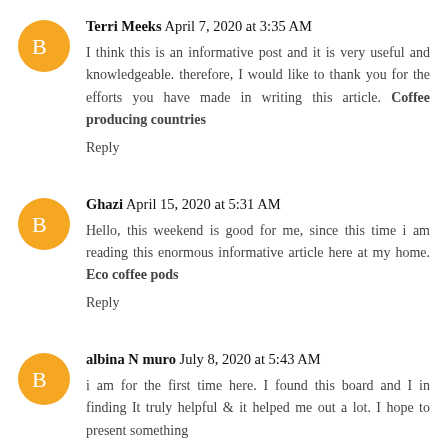Terri Meeks  April 7, 2020 at 3:35 AM
I think this is an informative post and it is very useful and knowledgeable. therefore, I would like to thank you for the efforts you have made in writing this article. Coffee producing countries
Reply
Ghazi  April 15, 2020 at 5:31 AM
Hello, this weekend is good for me, since this time i am reading this enormous informative article here at my home. Eco coffee pods
Reply
albina N muro  July 8, 2020 at 5:43 AM
i am for the first time here. I found this board and I in finding It truly helpful & it helped me out a lot. I hope to present something